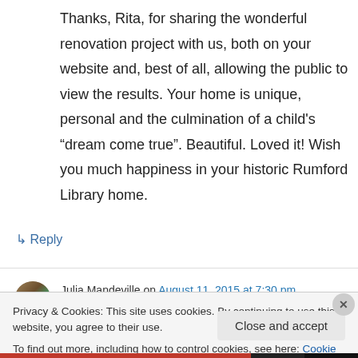Thanks, Rita, for sharing the wonderful renovation project with us, both on your website and, best of all, allowing the public to view the results. Your home is unique, personal and the culmination of a child's “dream come true”. Beautiful. Loved it! Wish you much happiness in your historic Rumford Library home.
↳ Reply
Julia Mandeville on August 11, 2015 at 7:30 pm
Privacy & Cookies: This site uses cookies. By continuing to use this website, you agree to their use.
To find out more, including how to control cookies, see here: Cookie Policy